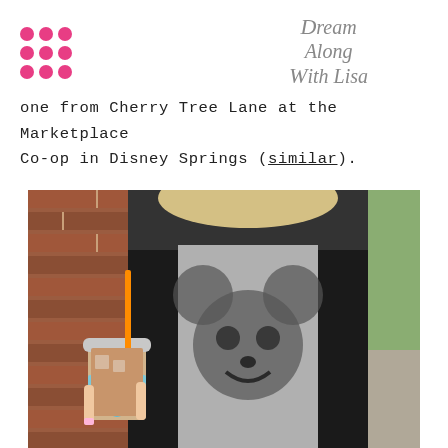[Figure (logo): Pink dot grid logo (3x3 grid of pink circles) on the left side of the header]
Dream Along With Lisa
one from Cherry Tree Lane at the Marketplace Co-op in Disney Springs (similar).
[Figure (photo): A woman wearing a Mickey Mouse graphic burnout tee and black blazer, holding an iced coffee drink with a colorful crocheted Mickey Mouse cup cozy, standing in front of a brick wall.]